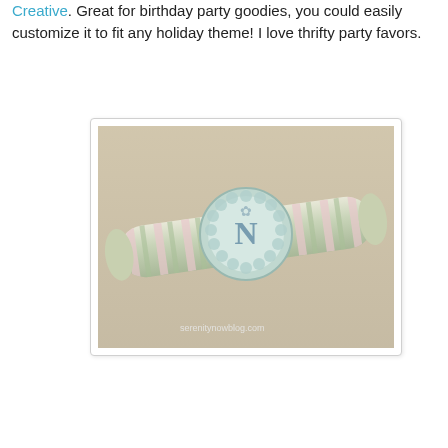Creative. Great for birthday party goodies, you could easily customize it to fit any holiday theme! I love thrifty party favors.
[Figure (photo): Photo of a pastel striped party favor tube/cracker wrapped with decorative paper and a circular monogram tag with letter 'N', watermarked 'serenitynowblog.com']